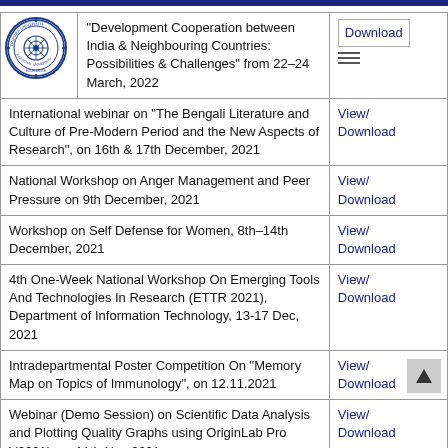[Figure (logo): Tripura University circular seal/logo in blue and white]
| Description | Action |
| --- | --- |
| "Development Cooperation between India & Neighbouring Countries: Possibilities & Challenges" from 22–24 March, 2022 | Download |
| International webinar on "The Bengali Literature and Culture of Pre-Modern Period and the New Aspects of Research", on 16th & 17th December, 2021 | View/ Download |
| National Workshop on Anger Management and Peer Pressure on 9th December, 2021 | View/ Download |
| Workshop on Self Defense for Women, 8th–14th December, 2021 | View/ Download |
| 4th One-Week National Workshop On Emerging Tools And Technologies In Research (ETTR 2021), Department of Information Technology, 13-17 Dec, 2021 | View/ Download |
| Intradepartmental Poster Competition On "Memory Map on Topics of Immunology", on 12.11.2021 | View/ Download |
| Webinar (Demo Session) on Scientific Data Analysis and Plotting Quality Graphs using OriginLab Pro V2021b on 11th Nov 2021 | View/ Download |